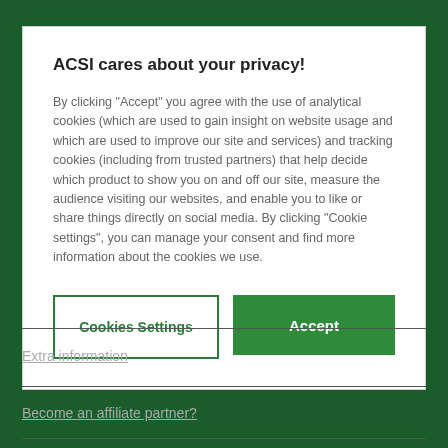ACSI cares about your privacy!
By clicking "Accept" you agree with the use of analytical cookies (which are used to gain insight on website usage and which are used to improve our site and services) and tracking cookies (including from trusted partners) that help decide which product to show you on and off our site, measure the audience visiting our websites, and enable you to like or share things directly on social media. By clicking "Cookie settings", you can manage your consent and find more information about the cookies we use.
Cookies Settings
Accept
Extra information
Become an affiliate partner?